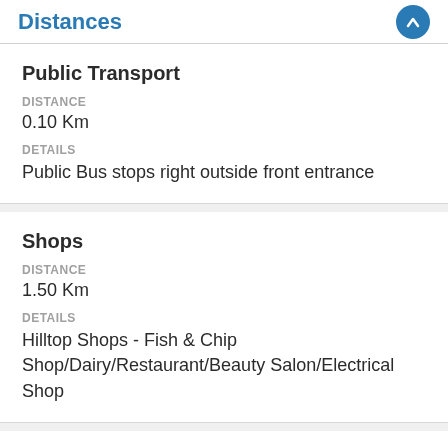Distances
Public Transport
DISTANCE
0.10 Km
DETAILS
Public Bus stops right outside front entrance
Shops
DISTANCE
1.50 Km
DETAILS
Hilltop Shops - Fish & Chip Shop/Dairy/Restaurant/Beauty Salon/Electrical Shop
Mall
DISTANCE